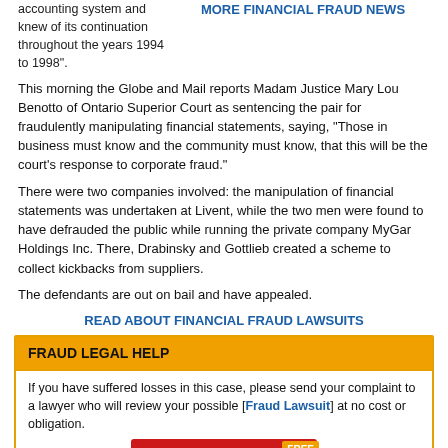accounting system and knew of its continuation throughout the years 1994 to 1998".
MORE FINANCIAL FRAUD NEWS
This morning the Globe and Mail reports Madam Justice Mary Lou Benotto of Ontario Superior Court as sentencing the pair for fraudulently manipulating financial statements, saying, "Those in business must know and the community must know, that this will be the court's response to corporate fraud."
There were two companies involved: the manipulation of financial statements was undertaken at Livent, while the two men were found to have defrauded the public while running the private company MyGar Holdings Inc. There, Drabinsky and Gottlieb created a scheme to collect kickbacks from suppliers.
The defendants are out on bail and have appealed.
READ ABOUT FINANCIAL FRAUD LAWSUITS
FRAUD LEGAL HELP
If you have suffered losses in this case, please send your complaint to a lawyer who will review your possible [Fraud Lawsuit] at no cost or obligation.
[Figure (infographic): Red button with 'REQUEST LEGAL HELP NOW!' text and 'FREE' badge in orange, followed by red banner at bottom]